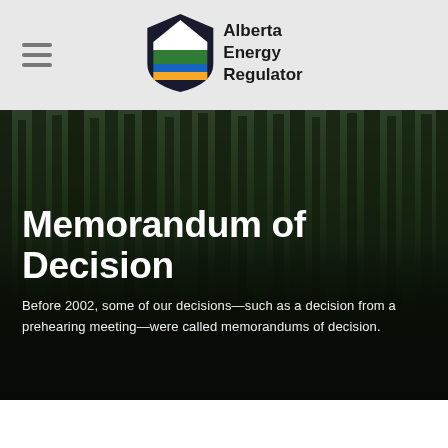Alberta Energy Regulator
Memorandum of Decision
Before 2002, some of our decisions—such as a decision from a prehearing meeting—were called memorandums of decision.